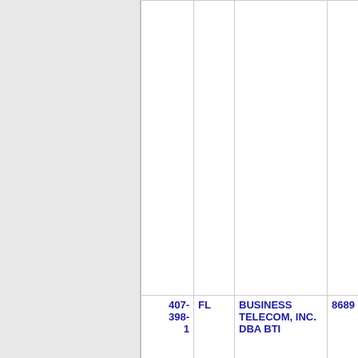| Phone | State | Company | ID | City |
| --- | --- | --- | --- | --- |
| 407-398-1 | FL | BUSINESS TELECOM, INC. DBA BTI | 8689 | ORLANDO |